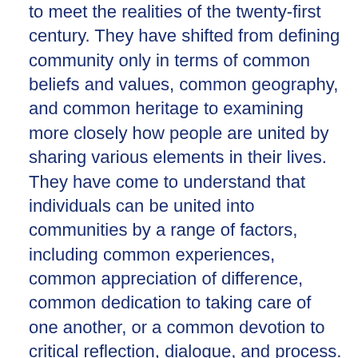to meet the realities of the twenty-first century. They have shifted from defining community only in terms of common beliefs and values, common geography, and common heritage to examining more closely how people are united by sharing various elements in their lives. They have come to understand that individuals can be united into communities by a range of factors, including common experiences, common appreciation of difference, common dedication to taking care of one another, or a common devotion to critical reflection, dialogue, and process. They have also accepted the notion that each community is different and that what unites one group may not be a unifying element in another group. Theorists continue to question their understandings of community, often seeking definitions that are flexible enough to fit the changing realities of a diverse, modern society but substantial enough that they exclude collectivities with weak, ephemeral bonds.